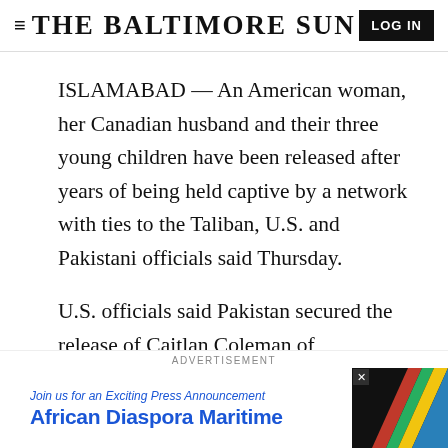THE BALTIMORE SUN
ISLAMABAD — An American woman, her Canadian husband and their three young children have been released after years of being held captive by a network with ties to the Taliban, U.S. and Pakistani officials said Thursday.
U.S. officials said Pakistan secured the release of Caitlan Coleman of Stewartstown, Pennsylvania, and her husband, Canadian Joshua Boyle, who were abducted five years ago while traveling in
ADVERTISEMENT
[Figure (illustration): Advertisement banner for African Diaspora Maritime with colorful stripe graphic on right side. Text reads: Join us for an Exciting Press Announcement / African Diaspora Maritime]